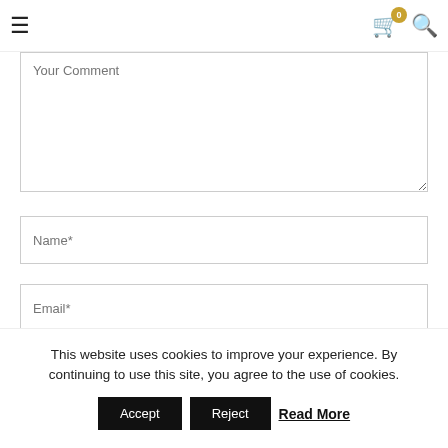≡  🛒 0  🔍
[Figure (screenshot): Comment form with textarea showing 'Your Comment' placeholder, Name* input field, Email* input field, and a partial third input field]
This website uses cookies to improve your experience. By continuing to use this site, you agree to the use of cookies. Accept  Reject  Read More